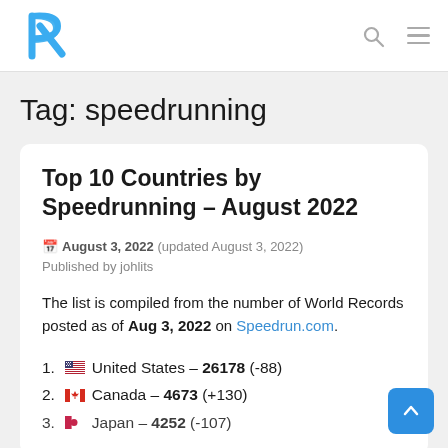Payloadz logo, search icon, menu icon
Tag: speedrunning
Top 10 Countries by Speedrunning – August 2022
August 3, 2022 (updated August 3, 2022)
Published by johlits
The list is compiled from the number of World Records posted as of Aug 3, 2022 on Speedrun.com.
1. 🇺🇸 United States – 26178 (-88)
2. 🇨🇦 Canada – 4673 (+130)
3. Japan – 4252 (-107) [partially visible]